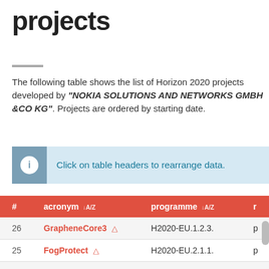projects
The following table shows the list of Horizon 2020 projects developed by "NOKIA SOLUTIONS AND NETWORKS GMBH &CO KG". Projects are ordered by starting date.
Click on table headers to rearrange data.
| # | acronym | programme | r |
| --- | --- | --- | --- |
| 26 | GrapheneCore3 | H2020-EU.1.2.3. | p |
| 25 | FogProtect | H2020-EU.2.1.1. | p |
| 24 | Full5G | H2020-EU.2.1.1. | p |
| 23 | ELIOT | H2020-EU.2.1.1. | p |
| 21 | 5G-CARMEN | H2020-EU.2.1.1. | p |